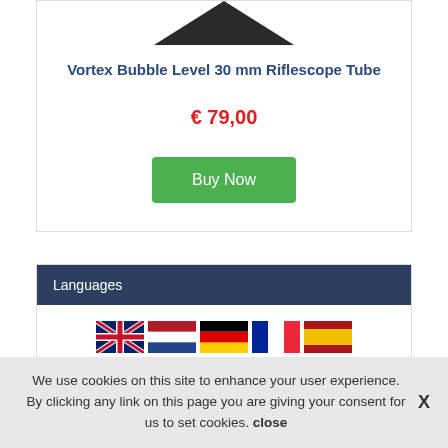[Figure (illustration): Partial view of a dark triangular/wedge shaped product (Vortex Bubble Level) at the top of a product card]
Vortex Bubble Level 30 mm Riflescope Tube
€ 79,00
Buy Now
Languages
[Figure (illustration): Row of country flags: UK, Netherlands, Germany, France, Spain]
We use cookies on this site to enhance your user experience. By clicking any link on this page you are giving your consent for us to set cookies. close